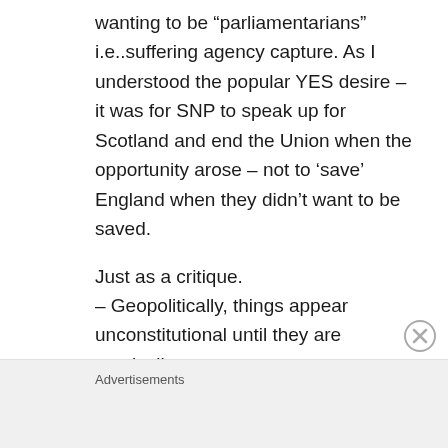wanting to be “parliamentarians” i.e..suffering agency capture. As I understood the popular YES desire – it was for SNP to speak up for Scotland and end the Union when the opportunity arose – not to ‘save’ England when they didn’t want to be saved.

Just as a critique.
– Geopolitically, things appear unconstitutional until they are magically
Advertisements